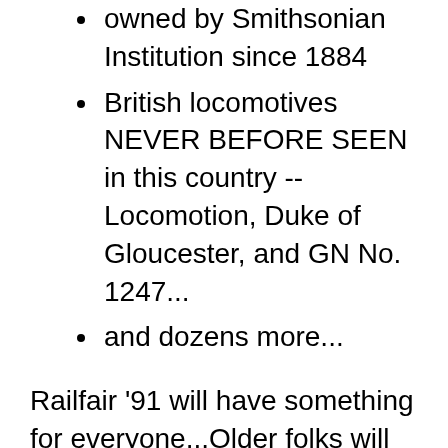owned by Smithsonian Institution since 1884
British locomotives NEVER BEFORE SEEN in this country -- Locomotion, Duke of Gloucester, and GN No. 1247...
and dozens more...
Railfair '91 will have something for everyone...Older folks will be fascinated with the nostalgia...and everyone will be intrigued by the sheer size and majesty of a form of transportation many have yet to experience...Children of all ages will marvel at the toy and model trains, and